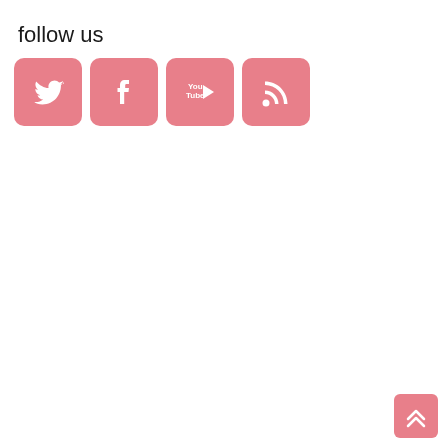follow us
[Figure (infographic): Four pink rounded-square social media icons in a row: Twitter (bird), Facebook (f), YouTube (play button with 'You Tube' text), RSS feed (signal waves)]
[Figure (infographic): Pink rounded-square back-to-top button with double upward chevron arrows, positioned bottom-right corner]